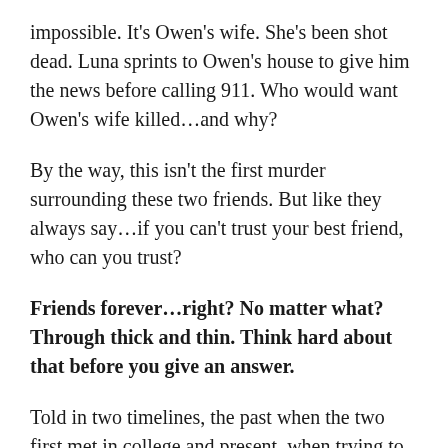impossible. It's Owen's wife. She's been shot dead. Luna sprints to Owen's house to give him the news before calling 911. Who would want Owen's wife killed…and why?
By the way, this isn't the first murder surrounding these two friends. But like they always say…if you can't trust your best friend, who can you trust?
Friends forever…right? No matter what? Through thick and thin. Think hard about that before you give an answer.
Told in two timelines, the past when the two first met in college and present, when trying to piece together this latest murder.